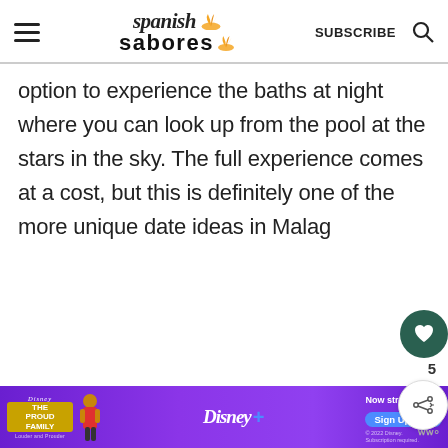Spanish Sabores — SUBSCRIBE
option to experience the baths at night where you can look up from the pool at the stars in the sky. The full experience comes at a cost, but this is definitely one of the more unique date ideas in Malag
[Figure (photo): Interior photo of ornate white arched ceiling of Moorish-style baths, viewed from below. Ad bar at bottom showing The Proud Family Disney+ advertisement.]
WHAT'S NEXT → 6 Awesome Free Things ...